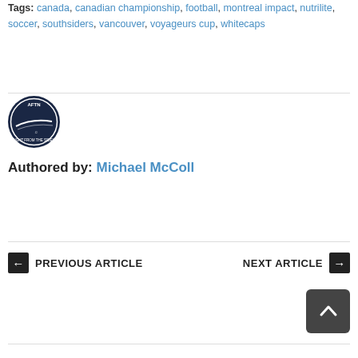Tags: canada, canadian championship, football, montreal impact, nutrilite, soccer, southsiders, vancouver, voyageurs cup, whitecaps
[Figure (logo): AFTN circular logo with soccer ball design, dark navy blue]
Authored by: Michael McColl
PREVIOUS ARTICLE
NEXT ARTICLE